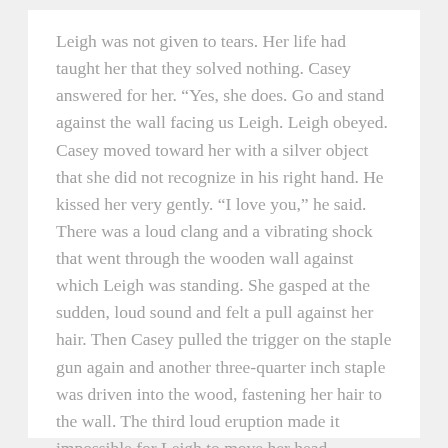Leigh was not given to tears. Her life had taught her that they solved nothing. Casey answered for her. “Yes, she does. Go and stand against the wall facing us Leigh. Leigh obeyed. Casey moved toward her with a silver object that she did not recognize in his right hand. He kissed her very gently. “I love you,” he said. There was a loud clang and a vibrating shock that went through the wooden wall against which Leigh was standing. She gasped at the sudden, loud sound and felt a pull against her hair. Then Casey pulled the trigger on the staple gun again and another three-quarter inch staple was driven into the wood, fastening her hair to the wall. The third loud eruption made it impossible for Leigh to move her head.